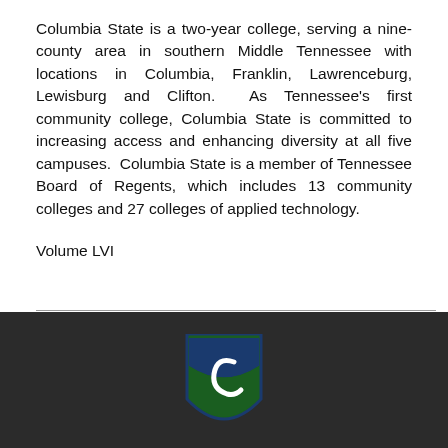Columbia State is a two-year college, serving a nine-county area in southern Middle Tennessee with locations in Columbia, Franklin, Lawrenceburg, Lewisburg and Clifton.  As Tennessee's first community college, Columbia State is committed to increasing access and enhancing diversity at all five campuses.  Columbia State is a member of Tennessee Board of Regents, which includes 13 community colleges and 27 colleges of applied technology.
Volume LVI
[Figure (logo): Columbia State Community College shield logo in green and blue, partially visible at bottom center of dark footer]